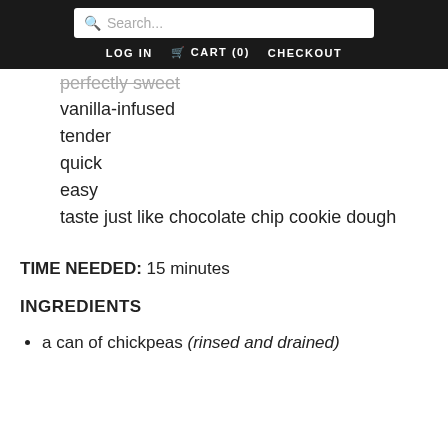Search... | LOG IN | CART (0) | CHECKOUT
perfectly sweet
vanilla-infused
tender
quick
easy
taste just like chocolate chip cookie dough
TIME NEEDED: 15 minutes
INGREDIENTS
a can of chickpeas (rinsed and drained)